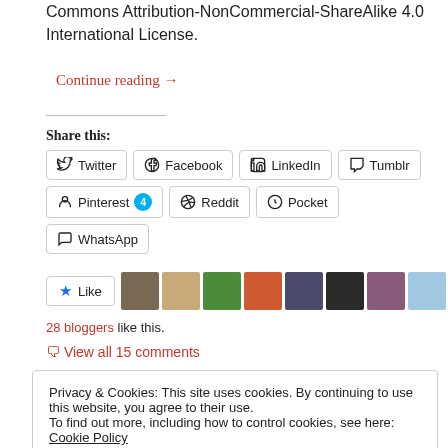Commons Attribution-NonCommercial-ShareAlike 4.0 International License.
Continue reading →
Share this:
[Figure (infographic): Row of social sharing buttons: Twitter, Facebook, LinkedIn, Tumblr, Pinterest (4), Reddit, Pocket, WhatsApp]
[Figure (infographic): Like button with star icon followed by a row of 10 blogger avatar thumbnails]
28 bloggers like this.
View all 15 comments
Privacy & Cookies: This site uses cookies. By continuing to use this website, you agree to their use. To find out more, including how to control cookies, see here: Cookie Policy
Close and accept